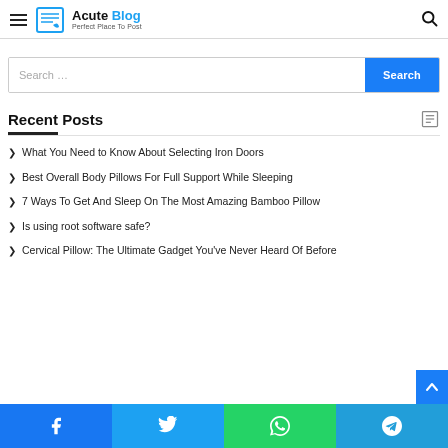Acute Blog — Perfect Place To Post
Search ...
Recent Posts
What You Need to Know About Selecting Iron Doors
Best Overall Body Pillows For Full Support While Sleeping
7 Ways To Get And Sleep On The Most Amazing Bamboo Pillow
Is using root software safe?
Cervical Pillow: The Ultimate Gadget You've Never Heard Of Before
Facebook | Twitter | WhatsApp | Telegram